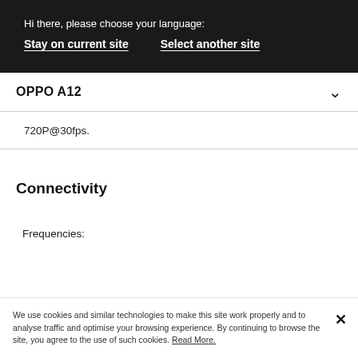Hi there, please choose your language:
Stay on current site   Select another site
OPPO A12
720P@30fps.
Connectivity
Frequencies:
We use cookies and similar technologies to make this site work properly and to analyse traffic and optimise your browsing experience. By continuing to browse the site, you agree to the use of such cookies. Read More.